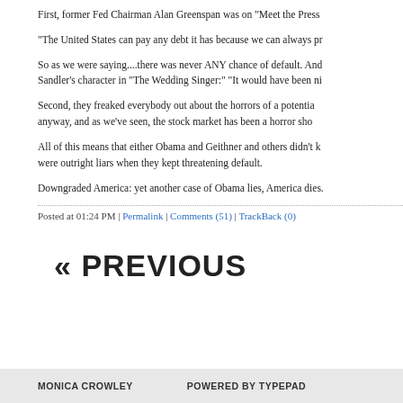First, former Fed Chairman Alan Greenspan was on "Meet the Press"
"The United States can pay any debt it has because we can always pr
So as we were saying....there was never ANY chance of default. And Sandler's character in "The Wedding Singer:" "It would have been ni
Second, they freaked everybody out about the horrors of a potentia anyway, and as we've seen, the stock market has been a horror sho
All of this means that either Obama and Geithner and others didn't k were outright liars when they kept threatening default.
Downgraded America: yet another case of Obama lies, America dies.
Posted at 01:24 PM | Permalink | Comments (51) | TrackBack (0)
« PREVIOUS
MONICA CROWLEY   POWERED BY TYPEPAD